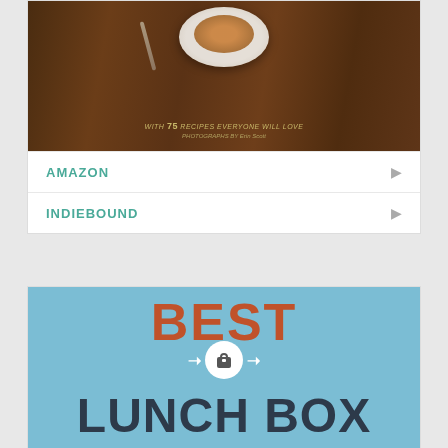[Figure (photo): Book cover showing a plate of food on a wooden surface with text 'with 75 recipes everyone will love, photographs by Erin Scott']
AMAZON
INDIEBOUND
[Figure (photo): Book cover with blue background showing text 'BEST' in orange/red and 'LUNCH BOX' in dark gray/navy, with arrow and shopping bag icon in between]